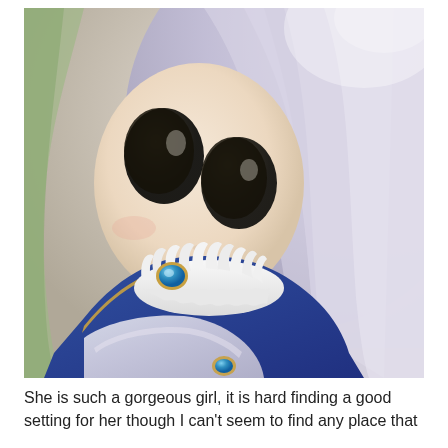[Figure (photo): Close-up photograph of an anime-style doll with large dark eyes, white/silver hair, and a blue and white outfit with a ruffled collar and a blue gem brooch. The doll is holding something white and satin-like in its hands.]
She is such a gorgeous girl, it is hard finding a good setting for her though I can't seem to find any place that